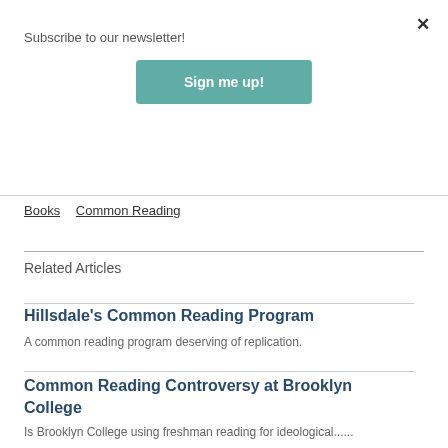Subscribe to our newsletter!
Sign me up!
Books   Common Reading
Related Articles
Hillsdale's Common Reading Program
A common reading program deserving of replication.
Common Reading Controversy at Brooklyn College
Is Brooklyn College using freshman reading for ideological......